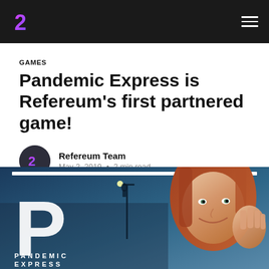Refereum logo and navigation
GAMES
Pandemic Express is Refereum's first partnered game!
Refereum Team
May 2, 2019 • 2 min read
[Figure (photo): Article hero image showing Pandemic Express game art with a large letter P, atmospheric blue-green scene with a person on a lamp post, and a woman with red hair smiling and gesturing with her hand near her face. Text at bottom reads PANDEMIC EXPRESS.]